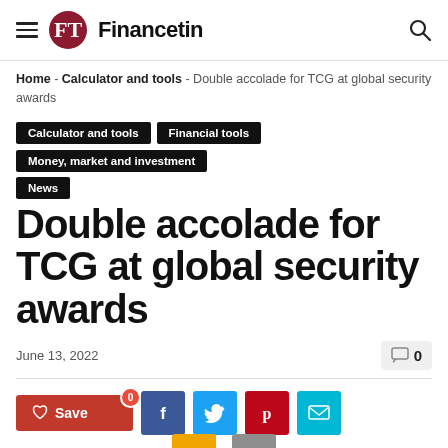Financetin
Home - Calculator and tools - Double accolade for TCG at global security awards
Calculator and tools | Financial tools | Money, market and investment | News
Double accolade for TCG at global security awards
June 13, 2022
0